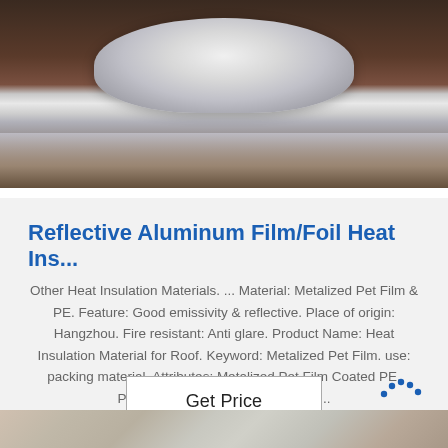[Figure (photo): Close-up photo of a roll of reflective aluminum foil/film product on a dark brown background]
Reflective Aluminum Film/Foil Heat Ins...
Other Heat Insulation Materials. ... Material: Metalized Pet Film & PE. Feature: Good emissivity & reflective. Place of origin: Hangzhou. Fire resistant: Anti glare. Product Name: Heat Insulation Material for Roof. Keyword: Metalized Pet Film. use: packing material. Attributes: Metalized Pet Film Coated PE. Packaging & Delivery. Packaging ...
Get Price
[Figure (logo): TOP logo with dotted arc above the letters TOP in blue]
[Figure (photo): Bottom portion of another product photo showing metallic/foil material]